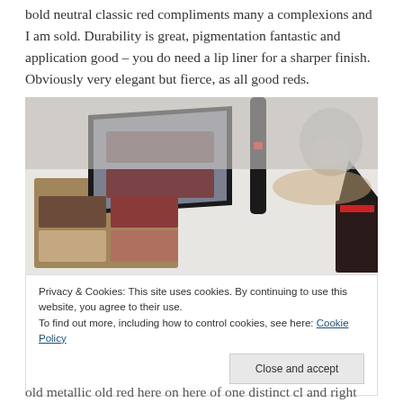bold neutral classic red compliments many a complexions and I am sold. Durability is great, pigmentation fantastic and application good – you do need a lip liner for a sharper finish. Obviously very elegant but fierce, as all good reds.
[Figure (photo): Flat lay photo of makeup products including an eyeshadow palette with mirror, a mascara tube, and a red lip pencil/lipstick on a white surface, with a decorative skull in the background.]
Privacy & Cookies: This site uses cookies. By continuing to use this website, you agree to their use.
To find out more, including how to control cookies, see here: Cookie Policy
Close and accept
old metallic old red here on here of one distinct cl and right